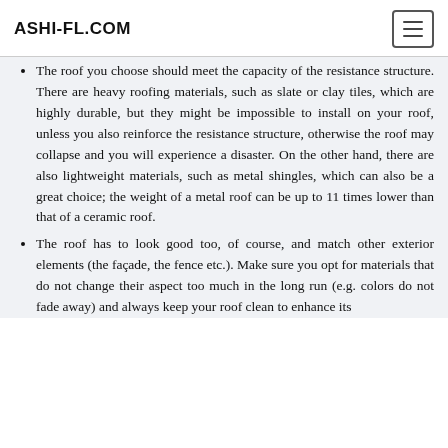ASHI-FL.COM
The roof you choose should meet the capacity of the resistance structure. There are heavy roofing materials, such as slate or clay tiles, which are highly durable, but they might be impossible to install on your roof, unless you also reinforce the resistance structure, otherwise the roof may collapse and you will experience a disaster. On the other hand, there are also lightweight materials, such as metal shingles, which can also be a great choice; the weight of a metal roof can be up to 11 times lower than that of a ceramic roof.
The roof has to look good too, of course, and match other exterior elements (the façade, the fence etc.). Make sure you opt for materials that do not change their aspect too much in the long run (e.g. colors do not fade away) and always keep your roof clean to enhance its